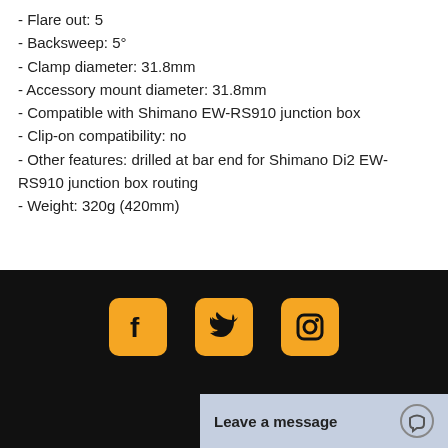- Flare out: 5
- Backsweep: 5°
- Clamp diameter: 31.8mm
- Accessory mount diameter: 31.8mm
- Compatible with Shimano EW-RS910 junction box
- Clip-on compatibility: no
- Other features: drilled at bar end for Shimano Di2 EW-RS910 junction box routing
- Weight: 320g (420mm)
[Figure (infographic): Social media icons: Facebook, Twitter, Instagram in orange rounded square buttons on black background]
Leave a message